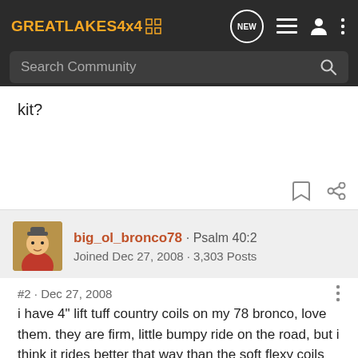GREATLAKES4x4 — NEW [icon] [list icon] [person icon] [dots icon]
Search Community
kit?
big_ol_bronco78 · Psalm 40:2
Joined Dec 27, 2008 · 3,303 Posts
#2 · Dec 27, 2008
i have 4" lift tuff country coils on my 78 bronco, love them. they are firm, little bumpy ride on the road, but i think it rides better that way than the soft flexy coils you can get. also, on the dunes they are awesome.